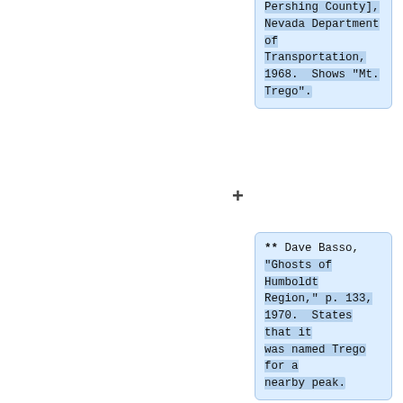Pershing County], Nevada Department of Transportation, 1968.  Shows "Mt. Trego".
** Dave Basso, "Ghosts of Humboldt Region," p. 133, 1970.  States that it was named Trego for a nearby peak.
** [http://www.nevadadot.com/uploadedFiles/NDOT/About_NDOT/NDOT_Divisions/Engineering/Location/Documents/Quads/1971_Atlas/quad0311.pdf | Nevada DOT 1971 Atlas (Pershing County Field Data